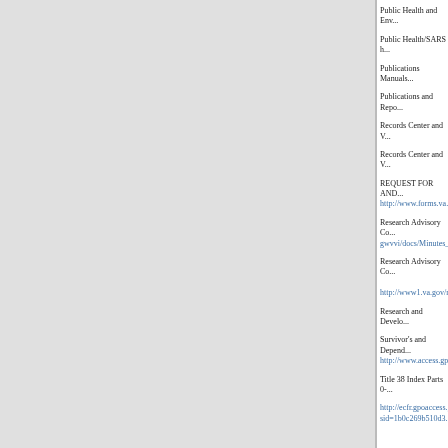Public Health and Env...
Public Health/SARS h...
Publications Manuals...
Publications and Repo...
Records Center and V...
Records Center and V...
REQUEST FOR AND... http://www.forms.va.g...
Research Advisory Co... gwvvi/docs/Minutes_A...
Research Advisory Co... http://www1.va.gov/r...
Research and Develo...
Survivor's and Depend... http://www.access.gpo...
Title 38 Index Parts 0-...
http://ecfr.gpoaccess.g... sid=1b0c269b510d3...